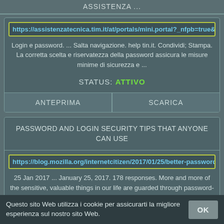ASSISTENZA ...
https://assistenzatecnica.tim.it/at/portals/mini.portal?_nfpb=true&
Login e password. ... Salta navigazione. help tin.it. Condividi; Stampa. La corretta scelta e riservatezza della password assicura le misure minime di sicurezza e ...
STATUS: ATTIVO
ANTEPRIMA
SCARICA
PASSWORD AND LOGIN SECURITY TIPS THAT ANYONE CAN USE
https://blog.mozilla.org/internetcitizen/2017/01/25/better-password
25 Jan 2017 ... January 25, 2017. 178 responses. More and more of the sensitive, valuable things in our life are guarded through password-protected online
Questo sito Web utilizza i cookie per assicurarti la migliore esperienza sul nostro sito Web.